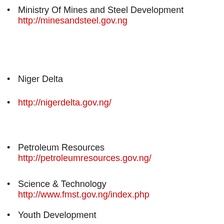Ministry Of Mines and Steel Development http://minesandsteel.gov.ng
Niger Delta
http://nigerdelta.gov.ng/
Petroleum Resources http://petroleumresources.gov.ng/
Science & Technology http://www.fmst.gov.ng/index.php
Youth Development